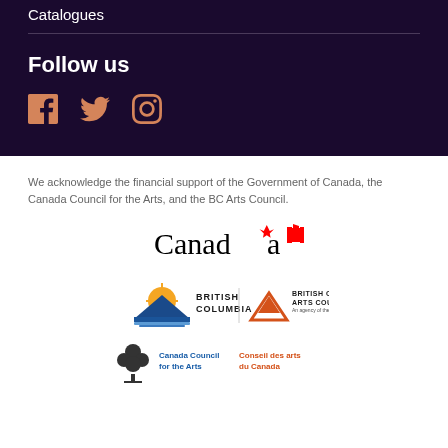Catalogues
Follow us
[Figure (illustration): Social media icons: Facebook, Twitter, Instagram in orange/salmon color on dark purple background]
We acknowledge the financial support of the Government of Canada, the Canada Council for the Arts, and the BC Arts Council.
[Figure (logo): Canada wordmark logo with maple leaf flag]
[Figure (logo): British Columbia provincial logo and British Columbia Arts Council logo side by side]
[Figure (logo): Canada Council for the Arts / Conseil des arts du Canada logo with tree icon]